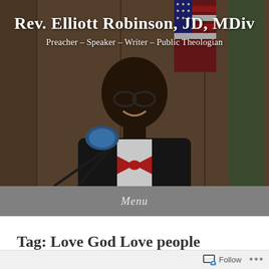Rev. Elliott Robinson, JD, MDiv
Preacher – Speaker – Writer – Public Theologian
[Figure (photo): Portrait photo of Rev. Elliott Robinson, an African American man wearing glasses, a dark suit, white shirt, and a red and gold bow tie, smiling and standing at a podium with a blue microphone. An American flag is visible in the background.]
Menu
Tag: Love God Love people
Follow